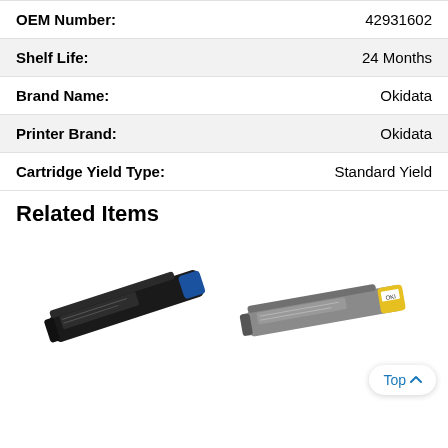| Attribute | Value |
| --- | --- |
| OEM Number: | 42931602 |
| Shelf Life: | 24 Months |
| Brand Name: | Okidata |
| Printer Brand: | Okidata |
| Cartridge Yield Type: | Standard Yield |
Related Items
[Figure (photo): Two toner cartridges shown side by side: left is a black/blue toner cartridge angled diagonally, right is a gray/yellow toner cartridge angled diagonally]
Top ^